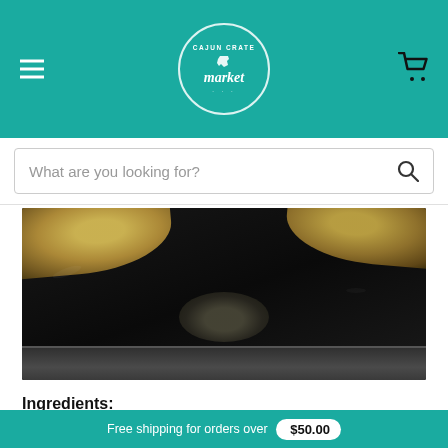Cajun Crate Market
[Figure (screenshot): Search bar with placeholder text 'What are you looking for?' and a search icon on the right]
[Figure (photo): Close-up photo of fried green tomatoes in a cast iron skillet with oil]
Ingredients:
1 cup Mexi-Cajun Fish Fry
3 Green Tomatoes Sliced 1/2" Thick
1/2 cup of Flour
2 eggs beaten
Free shipping for orders over $50.00